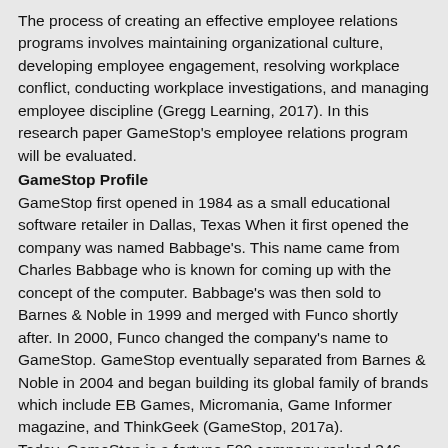The process of creating an effective employee relations programs involves maintaining organizational culture, developing employee engagement, resolving workplace conflict, conducting workplace investigations, and managing employee discipline (Gregg Learning, 2017). In this research paper GameStop's employee relations program will be evaluated.
GameStop Profile
GameStop first opened in 1984 as a small educational software retailer in Dallas, Texas When it first opened the company was named Babbage's. This name came from Charles Babbage who is known for coming up with the concept of the computer. Babbage's was then sold to Barnes & Noble in 1999 and merged with Funco shortly after. In 2000, Funco changed the company's name to GameStop. GameStop eventually separated from Barnes & Noble in 2004 and began building its global family of brands which include EB Games, Micromania, Game Informer magazine, and ThinkGeek (GameStop, 2017a).
Today, GameStop is a fortune 500 company ranked 346. GameStop's headquarters are located in Grapevine, Texas; close to where the company first opened. The company has expanded greatly since it first opened and is now the world's largest video...